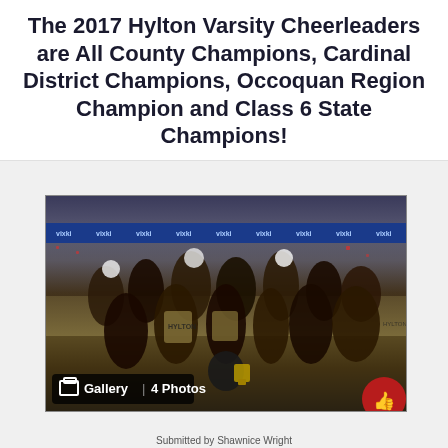The 2017 Hylton Varsity Cheerleaders are All County Champions, Cardinal District Champions, Occoquan Region Champion and Class 6 State Champions!
[Figure (photo): Group photo of the 2017 Hylton Varsity Cheerleaders in a sports arena, posing with a championship trophy. A blue sponsor banner is visible in the background. An overlay reads 'Gallery | 4 Photos' in the bottom left, and a red thumbs-up like button is in the bottom right.]
Submitted by Shawnice Wright